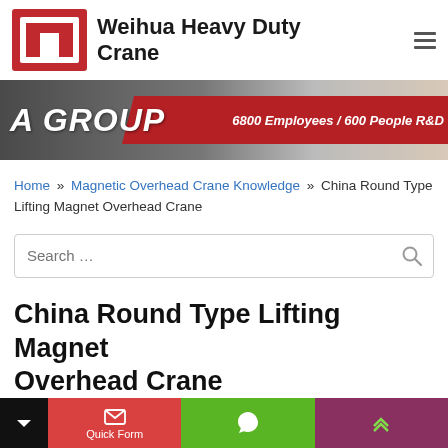Weihua Heavy Duty Crane
[Figure (photo): Website banner showing 'A GROUP' text with '6800 Employees / 600 People R&D' on a red diagonal stripe over grey background]
Home » Magnetic Overhead Crane Knowledge » China Round Type Lifting Magnet Overhead Crane
Search …
China Round Type Lifting Magnet Overhead Crane